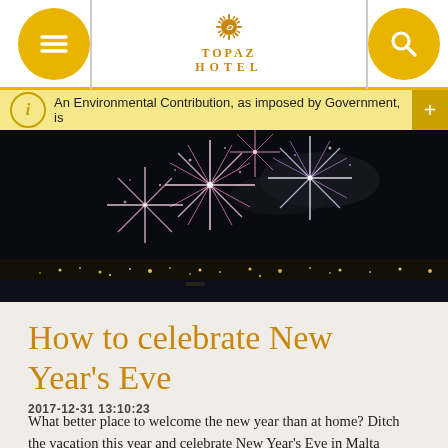Topaz Hotel — navigation header with menu and search buttons
An Environmental Contribution, as imposed by Government, is
[Figure (photo): Fireworks display over a city waterfront at night with colorful bursts in the sky]
How to celebrate New Year's Eve
2017-12-31 13:10:23
What better place to welcome the new year than at home? Ditch the vacation this year and celebrate New Year's Eve in Malta